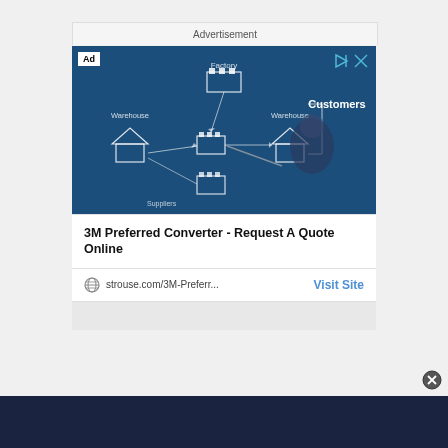Advertisement
[Figure (screenshot): An advertisement screenshot showing a supply chain diagram on a dark blue background. The ad is for '3M Preferred Converter - Request A Quote Online' from strouse.com. It includes an 'Ad' badge, play and close controls, a supply chain diagram with labels like Factory, Warehouse, Customers, and a person pointing at the diagram. Below the image is the ad title, a globe icon, URL 'strouse.com/3M-Preferr...' and a 'Visit Site' button.]